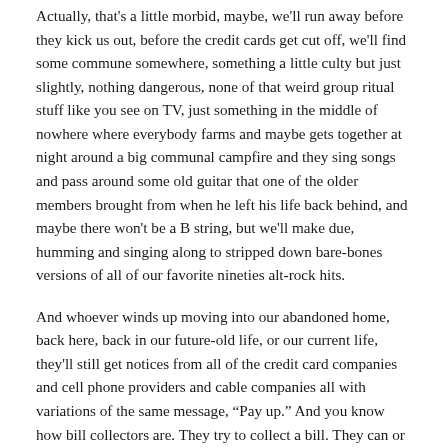Actually, that's a little morbid, maybe, we'll run away before they kick us out, before the credit cards get cut off, we'll find some commune somewhere, something a little culty but just slightly, nothing dangerous, none of that weird group ritual stuff like you see on TV, just something in the middle of nowhere where everybody farms and maybe gets together at night around a big communal campfire and they sing songs and pass around some old guitar that one of the older members brought from when he left his life back behind, and maybe there won't be a B string, but we'll make due, humming and singing along to stripped down bare-bones versions of all of our favorite nineties alt-rock hits.
And whoever winds up moving into our abandoned home, back here, back in our future-old life, or our current life, they'll still get notices from all of the credit card companies and cell phone providers and cable companies all with variations of the same message, "Pay up." And you know how bill collectors are. They try to collect a bill. They can or they can't.